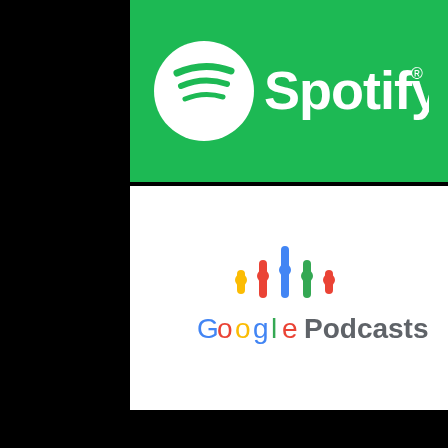[Figure (logo): Spotify logo: green background with white Spotify icon (circular with three horizontal curved lines) and white 'Spotify' wordmark with registered trademark symbol]
[Figure (logo): Google Podcasts logo: white background with Google Podcasts icon (vertical bars in blue, red, yellow, green colors) and 'Google Podcasts' text in Google brand colors]